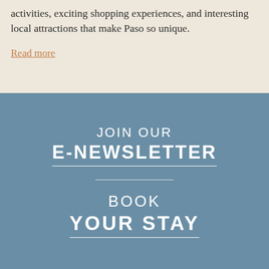activities, exciting shopping experiences, and interesting local attractions that make Paso so unique.
Read more
JOIN OUR E-NEWSLETTER
BOOK YOUR STAY